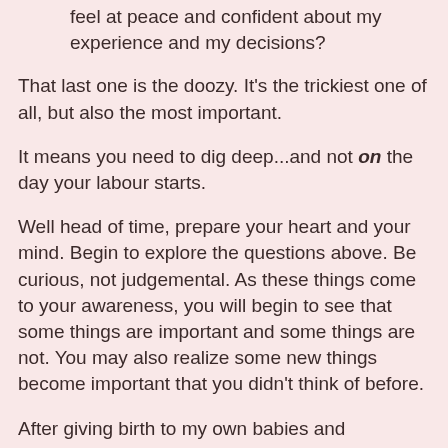feel at peace and confident about my experience and my decisions?
That last one is the doozy. It's the trickiest one of all, but also the most important.
It means you need to dig deep...and not on the day your labour starts.
Well head of time, prepare your heart and your mind. Begin to explore the questions above. Be curious, not judgemental. As these things come to your awareness, you will begin to see that some things are important and some things are not. You may also realize some new things become important that you didn't think of before.
After giving birth to my own babies and supporting many women through their own babies' births, I feel that the most important aspect of preparing for birth is not how or where you give birth. Not if you avoid the epidural, or if you give birth in a hospital, or if you give birth squatting or on your